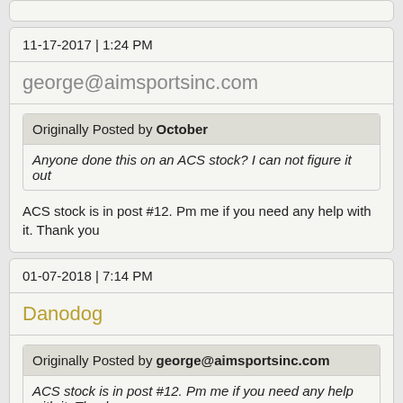11-17-2017 | 1:24 PM
george@aimsportsinc.com
Originally Posted by October
Anyone done this on an ACS stock? I can not figure it out
ACS stock is in post #12. Pm me if you need any help with it. Thank you
01-07-2018 | 7:14 PM
Danodog
Originally Posted by george@aimsportsinc.com
ACS stock is in post #12. Pm me if you need any help with it. Thank you